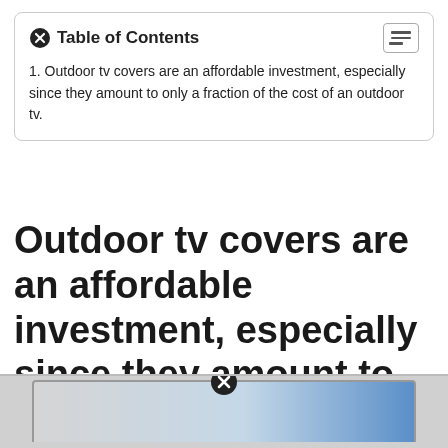| 1. Outdoor tv covers are an affordable investment, especially since they amount to only a fraction of the cost of an outdoor tv. |
Outdoor tv covers are an affordable investment, especially since they amount to only a fraction of the cost of an outdoor tv.
[Figure (photo): Bottom portion of an outdoor TV or monitor in a silver/grey frame, partially visible at the bottom of the page.]